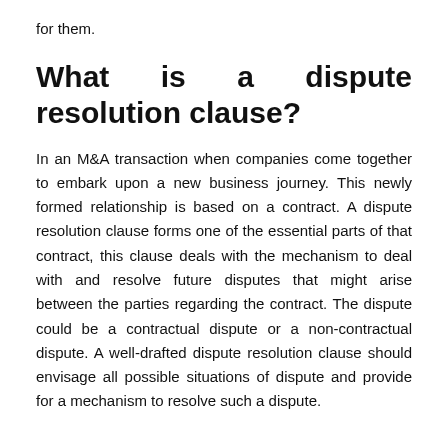for them.
What is a dispute resolution clause?
In an M&A transaction when companies come together to embark upon a new business journey. This newly formed relationship is based on a contract. A dispute resolution clause forms one of the essential parts of that contract, this clause deals with the mechanism to deal with and resolve future disputes that might arise between the parties regarding the contract. The dispute could be a contractual dispute or a non-contractual dispute. A well-drafted dispute resolution clause should envisage all possible situations of dispute and provide for a mechanism to resolve such a dispute.